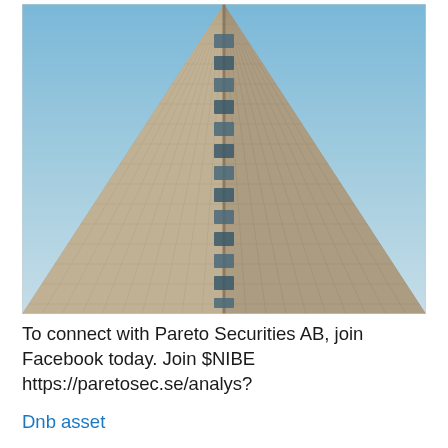[Figure (photo): Looking up at a tall modern skyscraper with a triangular/pointed facade of repeating grid windows and beige/cream concrete panels against a blue sky.]
To connect with Pareto Securities AB, join Facebook today. Join $NIBE https://paretosec.se/analys?
Dnb asset